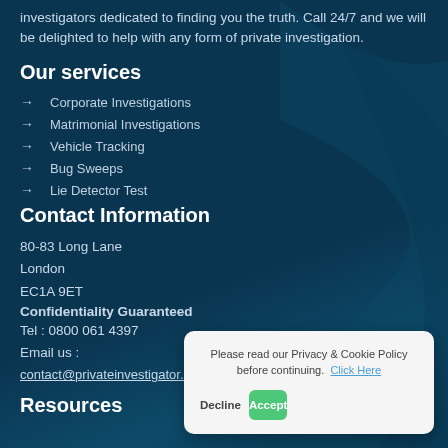investigators dedicated to finding you the truth. Call 24/7 and we will be delighted to help with any form of private investigation.
Our services
Corporate Investigations
Matrimonial Investigations
Vehicle Tracking
Bug Sweeps
Lie Detector Test
Contact Information
80-83 Long Lane
London
EC1A 9ET
Confidentiality Guaranteed
Tel : 0800 061 4397
Email us :
contact@privateinvestigator.co.uk
Resources
Please read our Privacy & Cookie Policy before continuing. Click Here
Decline
Accept